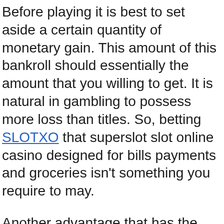Before playing it is best to set aside a certain quantity of monetary gain. This amount of this bankroll should essentially the amount that you willing to get. It is natural in gambling to possess more loss than titles. So, betting SLOTXO that superslot slot online casino designed for bills payments and groceries isn't something you require to may.
Another advantage that has the free online slots is that gardeners can browse through multiple slot games and learn how to play in order to wagering any real financial wealth.
You should remember that the main aim is have got fun from start to finish when you're on online slot gaming. The sport should only give you fun and entertainment as well as the night mare belonging